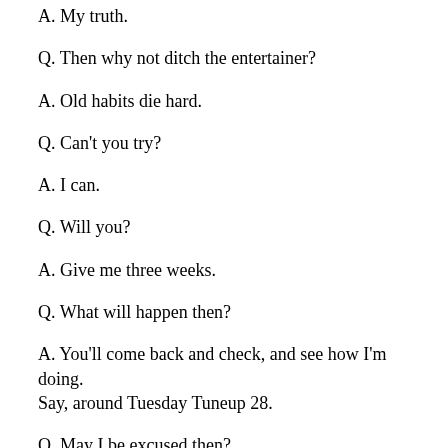A. My truth.
Q. Then why not ditch the entertainer?
A. Old habits die hard.
Q. Can't you try?
A. I can.
Q. Will you?
A. Give me three weeks.
Q. What will happen then?
A. You'll come back and check, and see how I'm doing. Say, around Tuesday Tuneup 28.
Q. May I be excused then?